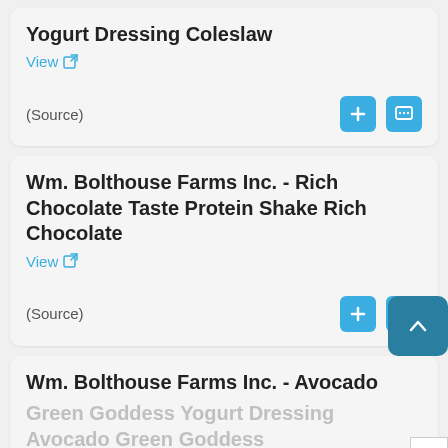Yogurt Dressing Coleslaw
View
(Source)
Wm. Bolthouse Farms Inc. - Rich Chocolate Taste Protein Shake Rich Chocolate
View
(Source)
Wm. Bolthouse Farms Inc. - Avocado Green Goddess Yogurt Dressing Avocado Green Goddess